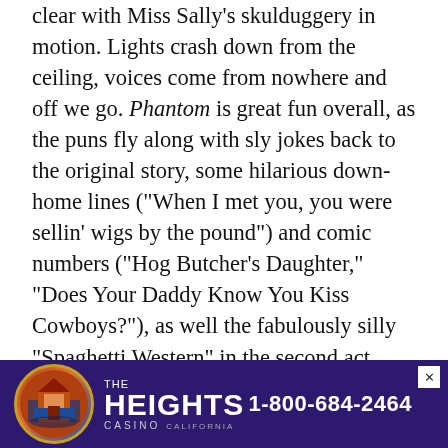clear with Miss Sally's skulduggery in motion. Lights crash down from the ceiling, voices come from nowhere and off we go. Phantom is great fun overall, as the puns fly along with sly jokes back to the original story, some hilarious down-home lines ("When I met you, you were sellin' wigs by the pound") and comic numbers ("Hog Butcher's Daughter," "Does Your Daddy Know You Kiss Cowboys?"), as well the fabulously silly "Spaghetti Western" in the second act.

But the straws that stir the drink, as it were, are Post in the lead and McGahan as Aaron. Post is dynamic in her role, and if her acting chops are a bit unpolished, that fact is dwarfed by her amazing voice throughout the production, especially in the showstopper "If I Could Hold You." McGahan possesses a great voice as well,
[Figure (other): Advertisement banner for The Heights Casino, Trinidad California, phone number 1-800-684-2464, purple background with circular logo showing a building/casino scene]